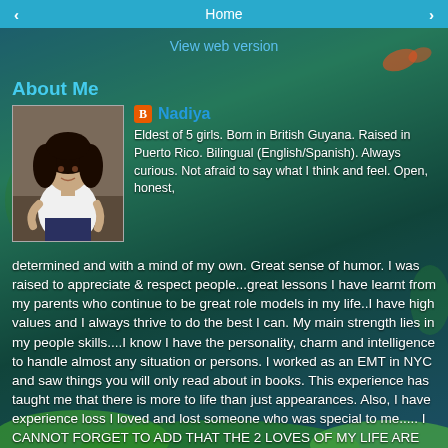Home
View web version
About Me
[Figure (photo): Profile photo of Nadiya, a woman with dark curly hair wearing a white top, posed sitting]
Nadiya
Eldest of 5 girls. Born in British Guyana. Raised in Puerto Rico. Bilingual (English/Spanish). Always curious. Not afraid to say what I think and feel. Open, honest, determined and with a mind of my own. Great sense of humor. I was raised to appreciate & respect people...great lessons I have learnt from my parents who continue to be great role models in my life..I have high values and I always thrive to do the best I can. My main strength lies in my people skills....I know I have the personality, charm and intelligence to handle almost any situation or persons. I worked as an EMT in NYC and saw things you will only read about in books. This experience has taught me that there is more to life than just appearances. Also, I have experience loss I loved and lost someone who was special to me..... I CANNOT FORGET TO ADD THAT THE 2 LOVES OF MY LIFE ARE MY HUSBAND ARVID AND OUR KITTY CAT...BRUTUS/LIL'MYSULF